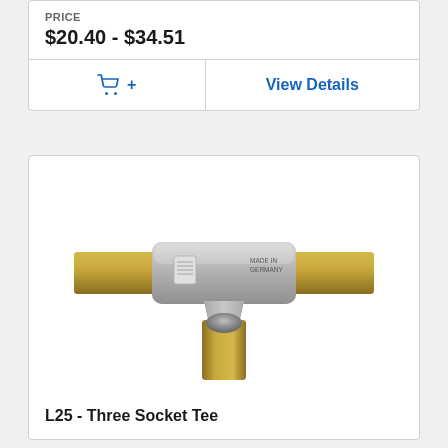PRICE
$20.40 - $34.51
🛒 +
View Details
[Figure (photo): Photo of a brass and stainless steel three socket tee pipe fitting (L25), with horizontal pipe connections on left and right and a vertical downward connection.]
L25 - Three Socket Tee